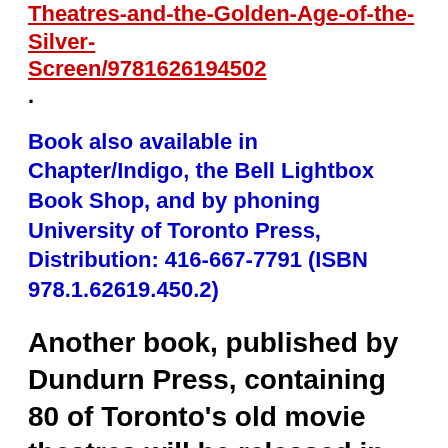Theatres-and-the-Golden-Age-of-the-Silver-Screen/9781626194502 .
Book also available in Chapter/Indigo, the Bell Lightbox Book Shop, and by phoning University of Toronto Press, Distribution: 416-667-7791 (ISBN 978.1.62619.450.2)
Another book, published by Dundurn Press, containing 80 of Toronto's old movie theatres will be released in the spring of 2016. It is entitled, “Toronto’s Movie Theatres of Yesterday…